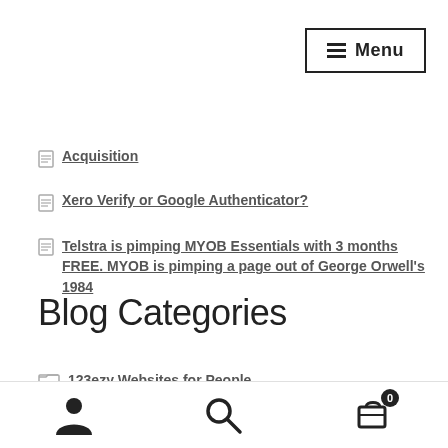Menu
Acquisition
Xero Verify or Google Authenticator?
Telstra is pimping MYOB Essentials with 3 months FREE. MYOB is pimping a page out of George Orwell's 1984
Blog Categories
123ezy Websites for People
Accounting Tutors
user  search  cart 0